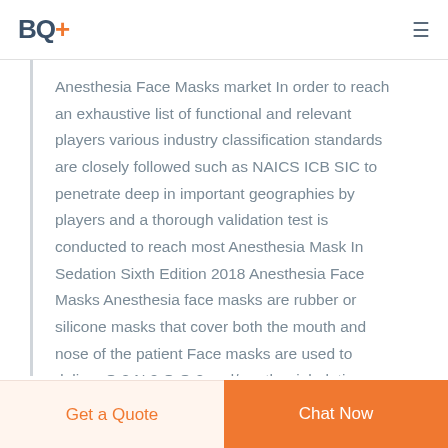BQ+
Anesthesia Face Masks market In order to reach an exhaustive list of functional and relevant players various industry classification standards are closely followed such as NAICS ICB SIC to penetrate deep in important geographies by players and a thorough validation test is conducted to reach most Anesthesia Mask In Sedation Sixth Edition 2018 Anesthesia Face Masks Anesthesia face masks are rubber or silicone masks that cover both the mouth and nose of the patient Face masks are used to deliver O 2 N 2 O O 2 and/or other inhalation anesthetics before during and after the anesthetic
Get a Quote | Chat Now